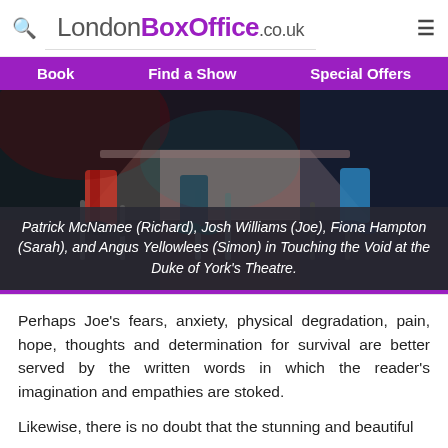LondonBoxOffice.co.uk — Book | Find a Show | Special Offers
[Figure (photo): Theatre stage photo showing actors seated at a table under dramatic lighting, legs and chairs visible from a low angle.]
Patrick McNamee (Richard), Josh Williams (Joe), Fiona Hampton (Sarah), and Angus Yellowlees (Simon) in Touching the Void at the Duke of York's Theatre.
Perhaps Joe's fears, anxiety, physical degradation, pain, hope, thoughts and determination for survival are better served by the written words in which the reader's imagination and empathies are stoked.
Likewise, there is no doubt that the stunning and beautiful